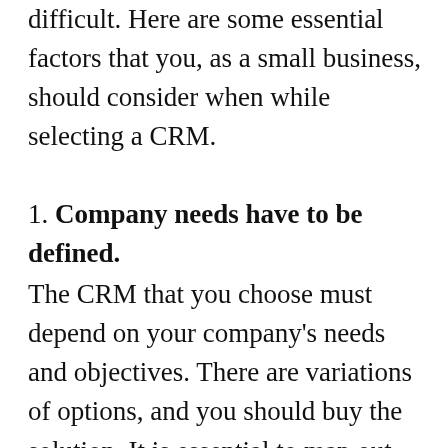difficult. Here are some essential factors that you, as a small business, should consider when while selecting a CRM.
1. Company needs have to be defined.
The CRM that you choose must depend on your company's needs and objectives. There are variations of options, and you should buy the solution. It is essential to map out the objectives and goals of your company. Choosing a CRM that meets every